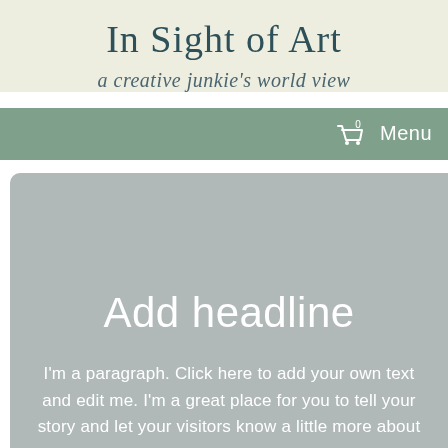In Sight of Art
a creative junkie's world view
0   Menu
Add headline
I'm a paragraph. Click here to add your own text and edit me. I'm a great place for you to tell your story and let your visitors know a little more about you.